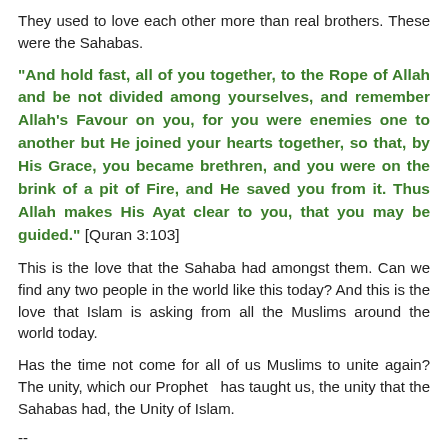They used to love each other more than real brothers. These were the Sahabas.
"And hold fast, all of you together, to the Rope of Allah and be not divided among yourselves, and remember Allah's Favour on you, for you were enemies one to another but He joined your hearts together, so that, by His Grace, you became brethren, and you were on the brink of a pit of Fire, and He saved you from it. Thus Allah makes His Ayat clear to you, that you may be guided." [Quran 3:103]
This is the love that the Sahaba had amongst them. Can we find any two people in the world like this today? And this is the love that Islam is asking from all the Muslims around the world today.
Has the time not come for all of us Muslims to unite again? The unity, which our Prophet  has taught us, the unity that the Sahabas had, the Unity of Islam.
--